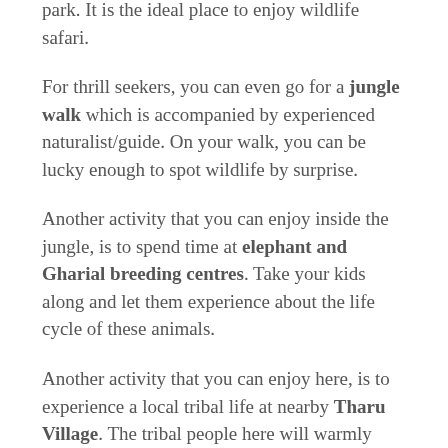park. It is the ideal place to enjoy wildlife safari.
For thrill seekers, you can even go for a jungle walk which is accompanied by experienced naturalist/guide. On your walk, you can be lucky enough to spot wildlife by surprise.
Another activity that you can enjoy inside the jungle, is to spend time at elephant and Gharial breeding centres. Take your kids along and let them experience about the life cycle of these animals.
Another activity that you can enjoy here, is to experience a local tribal life at nearby Tharu Village. The tribal people here will warmly